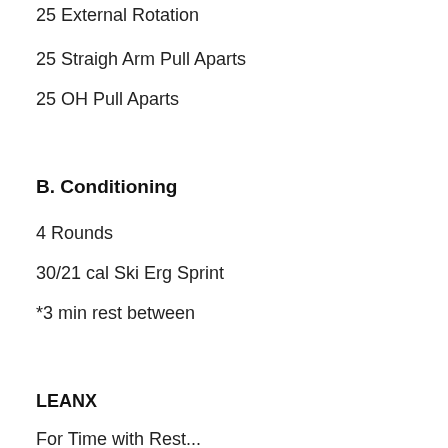25 External Rotation
25 Straigh Arm Pull Aparts
25 OH Pull Aparts
B. Conditioning
4 Rounds
30/21 cal Ski Erg Sprint
*3 min rest between
LEANX
For Time with Rest...